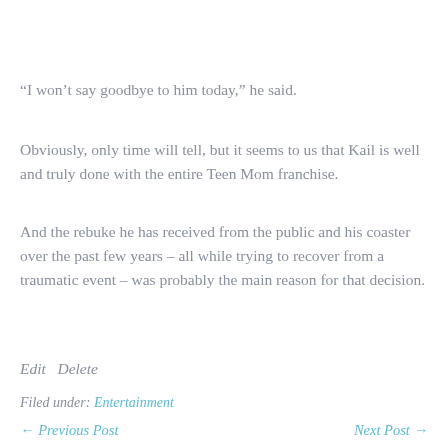“I won’t say goodbye to him today,” he said.
Obviously, only time will tell, but it seems to us that Kail is well and truly done with the entire Teen Mom franchise.
And the rebuke he has received from the public and his coaster over the past few years – all while trying to recover from a traumatic event – was probably the main reason for that decision.
Edit   Delete
Filed under: Entertainment
← Previous Post   Next Post →